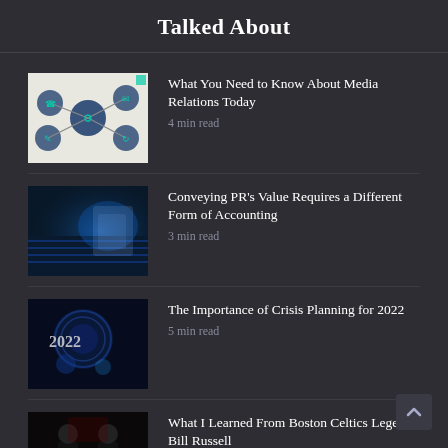Talked About
What You Need to Know About Media Relations Today
4 min read
Conveying PR's Value Requires a Different Form of Accounting
3 min read
The Importance of Crisis Planning for 2022
5 min read
What I Learned From Boston Celtics Legend Bill Russell